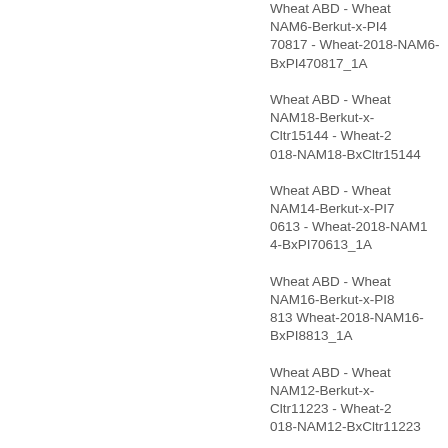Wheat ABD - Wheat NAM6-Berkut-x-PI470817 - Wheat-2018-NAM6-BxPI470817_1A
Wheat ABD - Wheat NAM18-Berkut-x-Cltr15144 - Wheat-2018-NAM18-BxCltr15144
Wheat ABD - Wheat NAM14-Berkut-x-PI70613 - Wheat-2018-NAM14-BxPI70613_1A
Wheat ABD - Wheat NAM16-Berkut-x-PI8813 Wheat-2018-NAM16-BxPI8813_1A
Wheat ABD - Wheat NAM12-Berkut-x-Cltr11223 - Wheat-2018-NAM12-BxCltr11223
Wheat ABD - Wheat NAM9-Berkut-x-Vida - Wheat-2018-NAM9-BxVida_1A
Wheat ABD - Wheat NAM6-Berkut-x-PI47